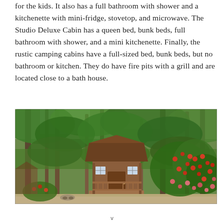for the kids. It also has a full bathroom with shower and a kitchenette with mini-fridge, stovetop, and microwave. The Studio Deluxe Cabin has a queen bed, bunk beds, full bathroom with shower, and a mini kitchenette. Finally, the rustic camping cabins have a full-sized bed, bunk beds, but no bathroom or kitchen. They do have fire pits with a grill and are located close to a bath house.
[Figure (photo): A wooden camping cabin with a small covered porch surrounded by tall trees and colorful red and pink flowering shrubs in a forested setting.]
v